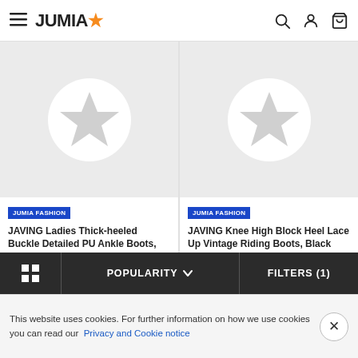JUMIA
[Figure (screenshot): Product card image placeholder for JAVING Ladies Thick-heeled Buckle Detailed PU Ankle Boots - grey background with white star circle icon]
JUMIA FASHION
JAVING Ladies Thick-heeled Buckle Detailed PU Ankle Boots, Beige
R 389
[Figure (screenshot): Product card image placeholder for JAVING Knee High Block Heel Lace Up Vintage Riding Boots - grey background with white star circle icon]
JUMIA FASHION
JAVING Knee High Block Heel Lace Up Vintage Riding Boots, Black
R 389
POPULARITY  FILTERS (1)
This website uses cookies. For further information on how we use cookies you can read our Privacy and Cookie notice